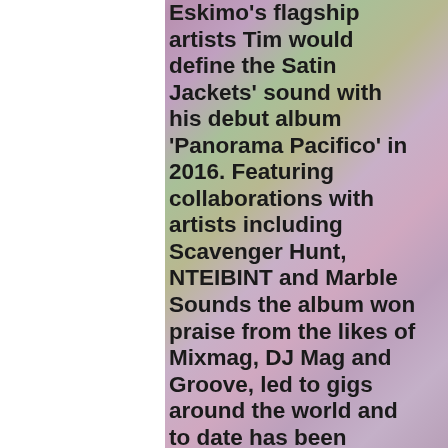[Figure (photo): Close-up photo of purple/pink flower petals with soft focus background, serving as the page background]
Eskimo's flagship artists Tim would define the Satin Jackets' sound with his debut album 'Panorama Pacifico' in 2016. Featuring collaborations with artists including Scavenger Hunt, NTEIBINT and Marble Sounds the album won praise from the likes of Mixmag, DJ Mag and Groove, led to gigs around the world and to date has been streamed on Spotify more than 30 million times. Never one to rest on his laurels though Tim has continued to refine the Satin Jackets' sound. Following the success of 'Panorama Pacifico' he's steadily built up a close-knit